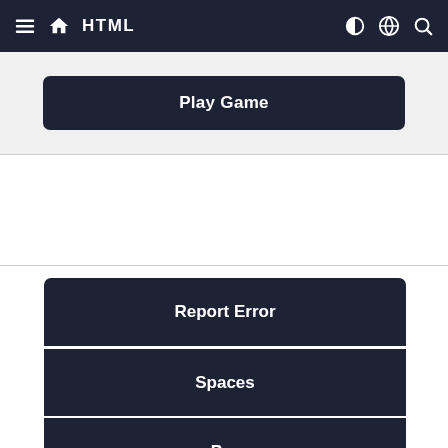HTML
Play Game
Report Error
Spaces
Pro
Buy Certificate
Top Tutorials